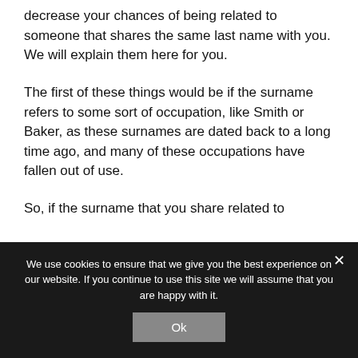decrease your chances of being related to someone that shares the same last name with you. We will explain them here for you.
The first of these things would be if the surname refers to some sort of occupation, like Smith or Baker, as these surnames are dated back to a long time ago, and many of these occupations have fallen out of use.
So, if the surname that you share related to
We use cookies to ensure that we give you the best experience on our website. If you continue to use this site we will assume that you are happy with it.